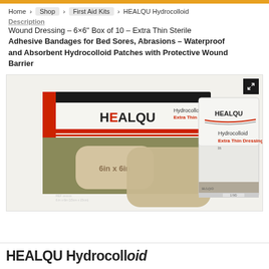Home > Shop > First Aid Kits > HEALQU Hydrocolloid
Description
Wound Dressing – 6×6" Box of 10 – Extra Thin Sterile Adhesive Bandages for Bed Sores, Abrasions – Waterproof and Absorbent Hydrocolloid Patches with Protective Wound Barrier
[Figure (photo): Product photo of HEALQU Hydrocolloid Extra Thin Dressing box (6in x 6in, 10 pcs), an individual wrapped dressing packet, and a hydrocolloid patch displayed in front of the box.]
HEALQU Hydrocolloid